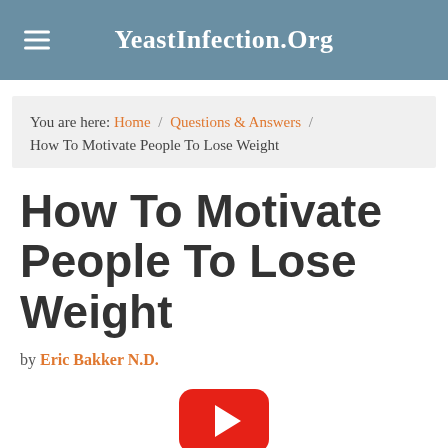YeastInfection.Org
You are here: Home / Questions & Answers / How To Motivate People To Lose Weight
How To Motivate People To Lose Weight
by Eric Bakker N.D.
[Figure (other): YouTube play button icon (red rounded rectangle with white triangle)]